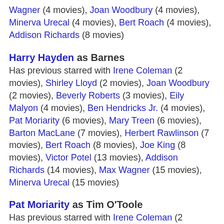Wagner (4 movies), Joan Woodbury (4 movies), Minerva Urecal (4 movies), Bert Roach (4 movies), Addison Richards (8 movies)
Harry Hayden as Barnes
Has previous starred with Irene Coleman (2 movies), Shirley Lloyd (2 movies), Joan Woodbury (2 movies), Beverly Roberts (3 movies), Eily Malyon (4 movies), Ben Hendricks Jr. (4 movies), Pat Moriarity (6 movies), Mary Treen (6 movies), Barton MacLane (7 movies), Herbert Rawlinson (7 movies), Bert Roach (8 movies), Joe King (8 movies), Victor Potel (13 movies), Addison Richards (14 movies), Max Wagner (15 movies), Minerva Urecal (15 movies)
Pat Moriarity as Tim O'Toole
Has previous starred with Irene Coleman (2 movies), Mathilde Comont (2 movies), Mary Treen (2 movies), Victor Potel (3 movies), Eily Malyon (3 movies), Max Wagner (4 movies), Susan Fleming